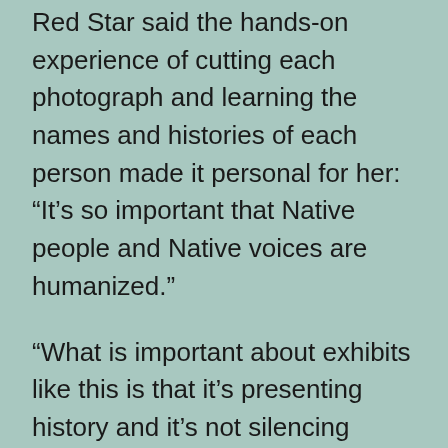Red Star said the hands-on experience of cutting each photograph and learning the names and histories of each person made it personal for her: “It’s so important that Native people and Native voices are humanized.”
“What is important about exhibits like this is that it’s presenting history and it’s not silencing certain narratives, and … I think that could make you even more proud to be an American. It’s vitally important we not forget our history and including our brutal history. It’s only going to bring us healing,” Red Star said.
While the artworks on display all take a critical